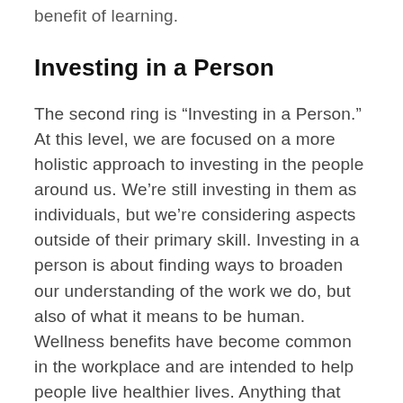benefit of learning.
Investing in a Person
The second ring is “Investing in a Person.” At this level, we are focused on a more holistic approach to investing in the people around us. We’re still investing in them as individuals, but we’re considering aspects outside of their primary skill. Investing in a person is about finding ways to broaden our understanding of the work we do, but also of what it means to be human. Wellness benefits have become common in the workplace and are intended to help people live healthier lives. Anything that helps an individual deal with life in a healthy way will have the added benefit of helping that person deal with work in a healthy way. Think about it this way: If I haven’t slept well for the past few nights, I certainly won’t be able to